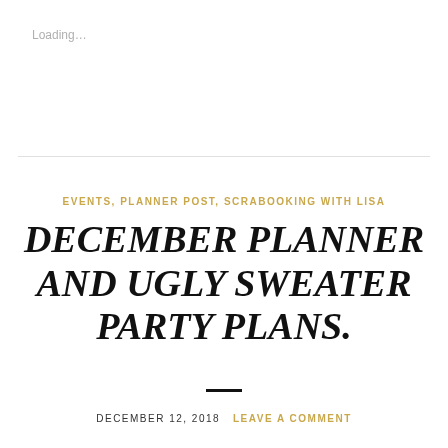Loading…
EVENTS, PLANNER POST, SCRABOOKING WITH LISA
DECEMBER PLANNER AND UGLY SWEATER PARTY PLANS.
DECEMBER 12, 2018   LEAVE A COMMENT